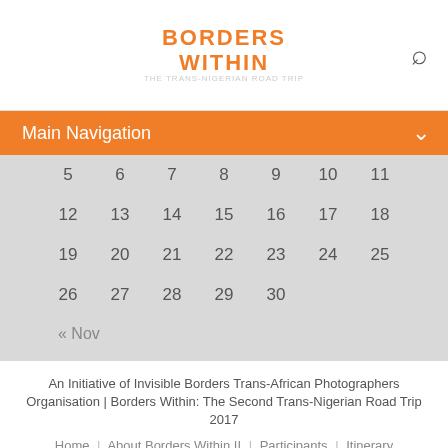BORDERS WITHIN THE TRANS-NIGERIAN ROAD TRIP
Main Navigation
| S | U | M | T | W | T | F |
| --- | --- | --- | --- | --- | --- | --- |
| 5 | 6 | 7 | 8 | 9 | 10 | 11 |
| 12 | 13 | 14 | 15 | 16 | 17 | 18 |
| 19 | 20 | 21 | 22 | 23 | 24 | 25 |
| 26 | 27 | 28 | 29 | 30 |  |  |
« Nov
An Initiative of Invisible Borders Trans-African Photographers Organisation | Borders Within: The Second Trans-Nigerian Road Trip 2017
Home | About Borders Within II | Participants | Itinerary
Share: Facebook Twitter Google+ LinkedIn